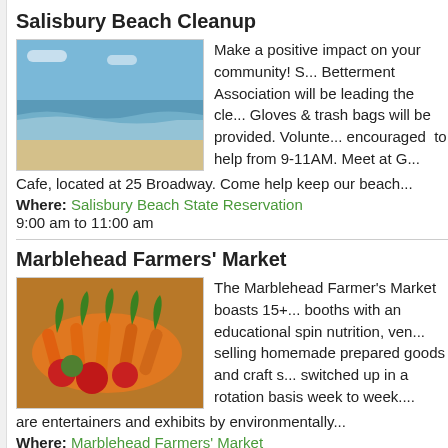Salisbury Beach Cleanup
Make a positive impact on your community! S... Betterment Association will be leading the cle... Gloves & trash bags will be provided. Volunte... encouraged to help from 9-11AM. Meet at G... Cafe, located at 25 Broadway. Come help keep our beach...
Where: Salisbury Beach State Reservation
9:00 am to 11:00 am
Marblehead Farmers' Market
The Marblehead Farmer's Market boasts 15+... booths with an educational spin nutrition, ven... selling homemade prepared goods and craft s... switched up in a rotation basis week to week.... are entertainers and exhibits by environmentally...
Where: Marblehead Farmers' Market
9:00 am to 12:00 pm
Gloucester Waterfront Festival
Historic Stage Fort Park along Gloucester Ha... again blossom into the colorful 41st Annual G... Waterfront Festival. A collection of over 175 J...